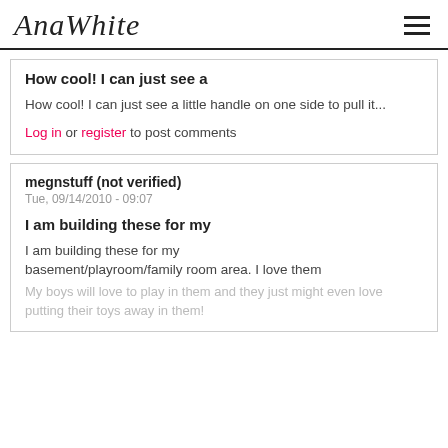AnaWhite
How cool! I can just see a
How cool! I can just see a little handle on one side to pull it...
Log in or register to post comments
megnstuff (not verified)
Tue, 09/14/2010 - 09:07
I am building these for my
I am building these for my basement/playroom/family room area. I love them
My boys will love to play in them and they just might even love putting their toys away in them!